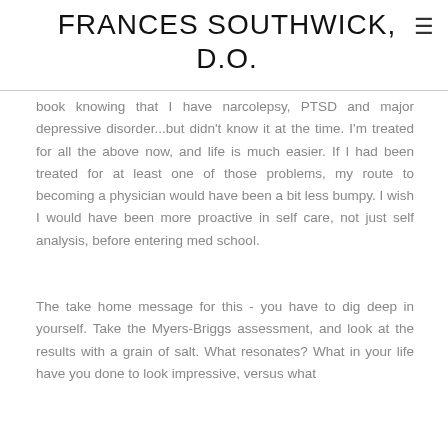FRANCES SOUTHWICK, D.O.
book knowing that I have narcolepsy, PTSD and major depressive disorder...but didn't know it at the time. I'm treated for all the above now, and life is much easier. If I had been treated for at least one of those problems, my route to becoming a physician would have been a bit less bumpy. I wish I would have been more proactive in self care, not just self analysis, before entering med school.
The take home message for this - you have to dig deep in yourself. Take the Myers-Briggs assessment, and look at the results with a grain of salt. What resonates? What in your life have you done to look impressive, versus what